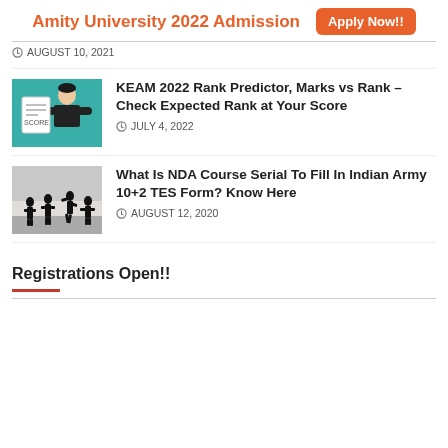Amity University 2022 Admission  Apply Now!!
AUGUST 10, 2021
[Figure (illustration): Person holding a document/certificate, teal background]
KEAM 2022 Rank Predictor, Marks vs Rank – Check Expected Rank at Your Score
JULY 4, 2022
[Figure (photo): Silhouette of soldiers/army personnel in action, black and white]
What Is NDA Course Serial To Fill In Indian Army 10+2 TES Form? Know Here
AUGUST 12, 2020
Registrations Open!!